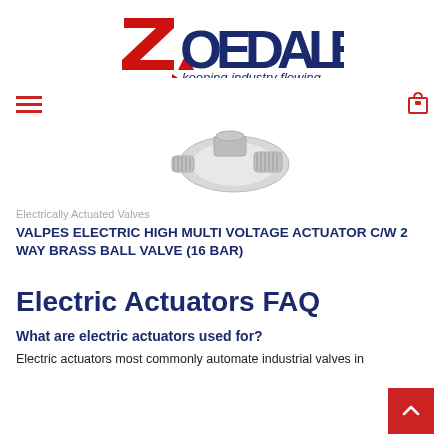[Figure (logo): Zoedale logo — red and dark blue 'ZOEDALE' wordmark with red triangle, tagline 'keeping industry flowing' in dark blue italic]
[Figure (photo): Product photo of a metal electric actuator ball valve assembly, silver/chrome finish, viewed from an angle]
Electrically Actuated Valves
VALPES ELECTRIC HIGH MULTI VOLTAGE ACTUATOR C/W 2 WAY BRASS BALL VALVE (16 BAR)
Electric Actuators FAQ
What are electric actuators used for?
Electric actuators most commonly automate industrial valves in